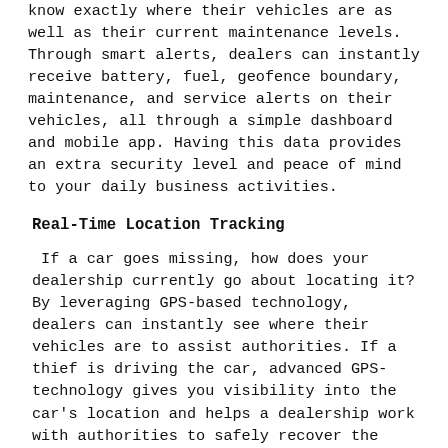know exactly where their vehicles are as well as their current maintenance levels. Through smart alerts, dealers can instantly receive battery, fuel, geofence boundary, maintenance, and service alerts on their vehicles, all through a simple dashboard and mobile app. Having this data provides an extra security level and peace of mind to your daily business activities.
Real-Time Location Tracking
If a car goes missing, how does your dealership currently go about locating it? By leveraging GPS-based technology, dealers can instantly see where their vehicles are to assist authorities. If a thief is driving the car, advanced GPS-technology gives you visibility into the car's location and helps a dealership work with authorities to safely recover the vehicle.